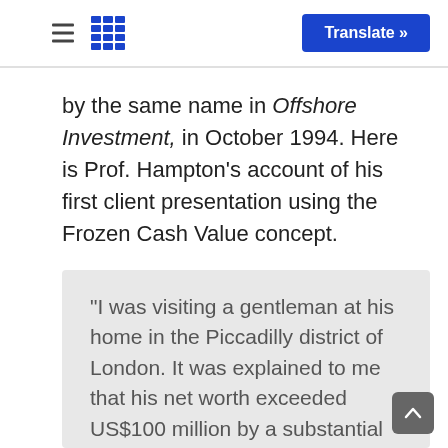Translate »
by the same name in Offshore Investment, in October 1994. Here is Prof. Hampton's account of his first client presentation using the Frozen Cash Value concept.
“I was visiting a gentleman at his home in the Piccadilly district of London. It was explained to me that his net worth exceeded US$100 million by a substantial margin.